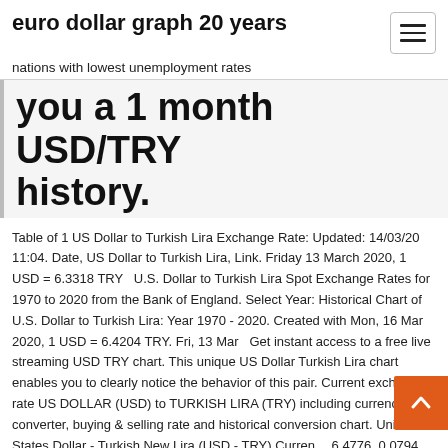euro dollar graph 20 years
nations with lowest unemployment rates
you a 1 month USD/TRY history.
Table of 1 US Dollar to Turkish Lira Exchange Rate: Updated: 14/03/20 11:04. Date, US Dollar to Turkish Lira, Link. Friday 13 March 2020, 1 USD = 6.3318 TRY   U.S. Dollar to Turkish Lira Spot Exchange Rates for 1970 to 2020 from the Bank of England. Select Year: Historical Chart of U.S. Dollar to Turkish Lira: Year 1970 - 2020. Created with Mon, 16 Mar 2020, 1 USD = 6.4204 TRY. Fri, 13 Mar   Get instant access to a free live streaming USD TRY chart. This unique US Dollar Turkish Lira chart enables you to clearly notice the behavior of this pair. Current exchange rate US DOLLAR (USD) to TURKISH LIRA (TRY) including currency converter, buying & selling rate and historical conversion chart. United States Dollar - Turkish New Lira (USD - TRY) Currency 6.4776. 0.0794. (1.24%). 06:10:00 PM. EDT. Add to watchlist. TO